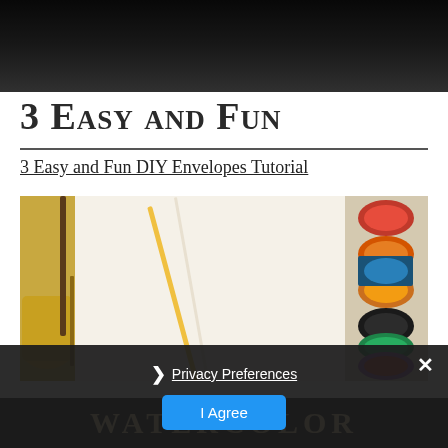[Figure (photo): Top partial image of a dark background, appears to be a website header area with dark overlay]
3 Easy and Fun
3 Easy and Fun DIY Envelopes Tutorial
[Figure (photo): Flatlay photo of watercolor paint palette with red, orange, yellow, green, blue, purple colors, paintbrushes, and white paper on white surface]
Privacy Preferences
I Agree
WATERCOLOR